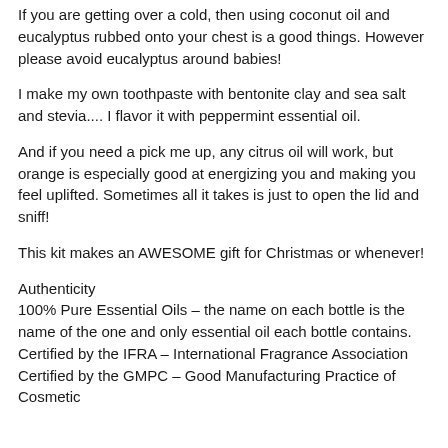If you are getting over a cold, then using coconut oil and eucalyptus rubbed onto your chest is a good things. However please avoid eucalyptus around babies!
I make my own toothpaste with bentonite clay and sea salt and stevia.... I flavor it with peppermint essential oil.
And if you need a pick me up, any citrus oil will work, but orange is especially good at energizing you and making you feel uplifted. Sometimes all it takes is just to open the lid and sniff!
This kit makes an AWESOME gift for Christmas or whenever!
Authenticity
100% Pure Essential Oils – the name on each bottle is the name of the one and only essential oil each bottle contains. Certified by the IFRA – International Fragrance Association Certified by the GMPC – Good Manufacturing Practice of Cosmetic